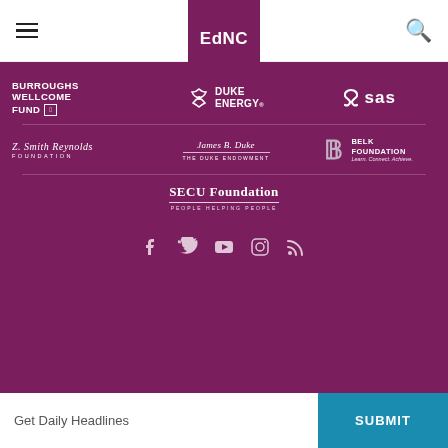EdNC
[Figure (logo): Burroughs Wellcome Fund logo - white text on purple background]
[Figure (logo): Duke Energy logo - white text with fan icon on purple background]
[Figure (logo): SAS logo - white text on purple background]
[Figure (logo): Z. Smith Reynolds Foundation logo - white text on purple background]
[Figure (logo): The Duke Endowment logo - white script text on purple background]
[Figure (logo): Belk Foundation - Learn. Connect. Achieve. logo on purple background]
[Figure (logo): SECU Foundation - People Helping People logo on purple background]
[Figure (infographic): Social media icons: Facebook, Twitter, YouTube, Instagram, RSS feed]
Get Daily Headlines
SUBMIT